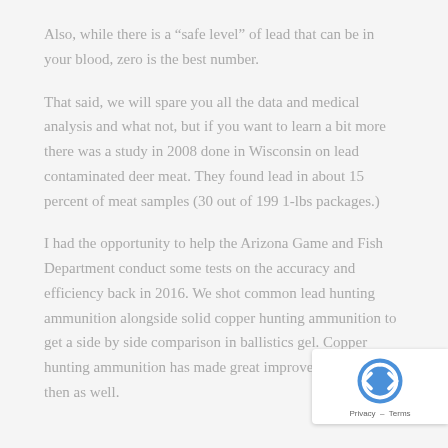Also, while there is a “safe level” of lead that can be in your blood, zero is the best number.
That said, we will spare you all the data and medical analysis and what not, but if you want to learn a bit more there was a study in 2008 done in Wisconsin on lead contaminated deer meat. They found lead in about 15 percent of meat samples (30 out of 199 1-lbs packages.)
I had the opportunity to help the Arizona Game and Fish Department conduct some tests on the accuracy and efficiency back in 2016. We shot common lead hunting ammunition alongside solid copper hunting ammunition to get a side by side comparison in ballistics gel. Copper hunting ammunition has made great improvements since then as well.